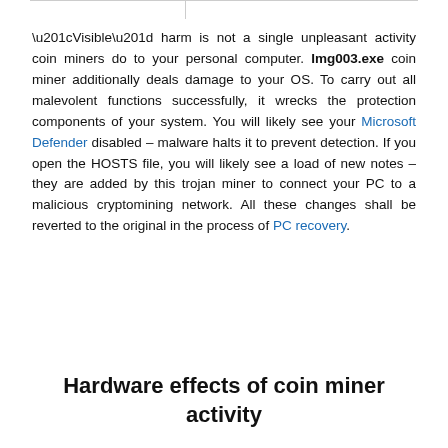“Visible” harm is not a single unpleasant activity coin miners do to your personal computer. Img003.exe coin miner additionally deals damage to your OS. To carry out all malevolent functions successfully, it wrecks the protection components of your system. You will likely see your Microsoft Defender disabled – malware halts it to prevent detection. If you open the HOSTS file, you will likely see a load of new notes – they are added by this trojan miner to connect your PC to a malicious cryptomining network. All these changes shall be reverted to the original in the process of PC recovery.
Hardware effects of coin miner activity